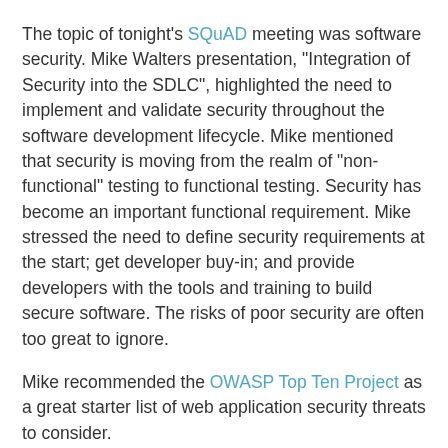The topic of tonight's SQuAD meeting was software security. Mike Walters presentation, "Integration of Security into the SDLC", highlighted the need to implement and validate security throughout the software development lifecycle. Mike mentioned that security is moving from the realm of "non-functional" testing to functional testing. Security has become an important functional requirement. Mike stressed the need to define security requirements at the start; get developer buy-in; and provide developers with the tools and training to build secure software. The risks of poor security are often too great to ignore.
Mike recommended the OWASP Top Ten Project as a great starter list of web application security threats to consider.
A1 Unvalidated Input. Information from web requests is not validated before being used by a web application. Attackers can use these flaws to attack backend components through a web application.